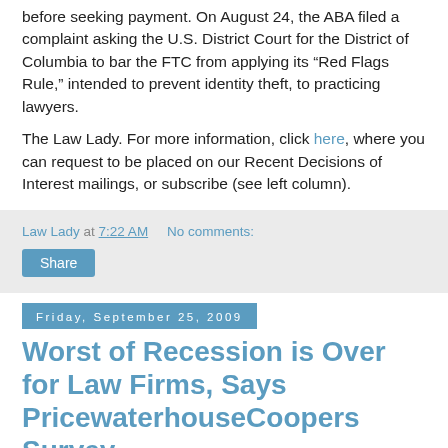before seeking payment. On August 24, the ABA filed a complaint asking the U.S. District Court for the District of Columbia to bar the FTC from applying its “Red Flags Rule,” intended to prevent identity theft, to practicing lawyers.
The Law Lady. For more information, click here, where you can request to be placed on our Recent Decisions of Interest mailings, or subscribe (see left column).
Law Lady at 7:22 AM   No comments:
Share
Friday, September 25, 2009
Worst of Recession is Over for Law Firms, Says PricewaterhouseCoopers Survey
ABA Journal Law News Now, 9-25-09
Worst of Recession is Over for Law Firms, Says PricewaterhouseCoopers Survey